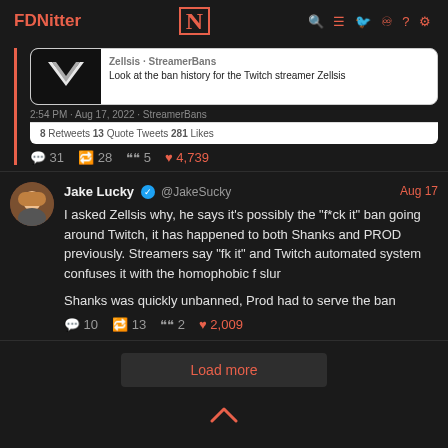FDNitter
[Figure (screenshot): Embedded tweet card showing Zellsis - StreamerBans link with thumbnail]
2:54 PM · Aug 17, 2022 · StreamerBans
8 Retweets   13 Quote Tweets   281 Likes
💬 31   🔁 28   99 5   ♥ 4,739
Jake Lucky ✓ @JakeSucky   Aug 17
I asked Zellsis why, he says it's possibly the "f*ck it" ban going around Twitch, it has happened to both Shanks and PROD previously. Streamers say "fk it" and Twitch automated system confuses it with the homophobic f slur

Shanks was quickly unbanned, Prod had to serve the ban
💬 10   🔁 13   99 2   ♥ 2,009
Load more